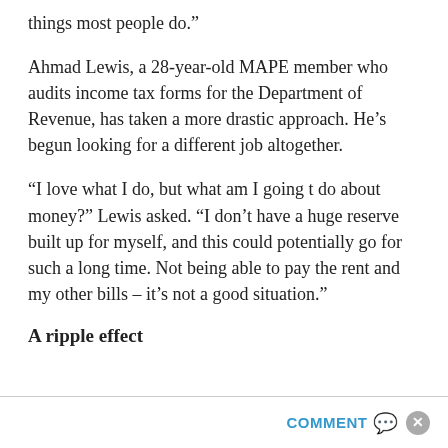things most people do.”
Ahmad Lewis, a 28-year-old MAPE member who audits income tax forms for the Department of Revenue, has taken a more drastic approach. He’s begun looking for a different job altogether.
“I love what I do, but what am I going t do about money?” Lewis asked. “I don’t have a huge reserve built up for myself, and this could potentially go for such a long time. Not being able to pay the rent and my other bills – it’s not a good situation.”
A ripple effect
COMMENT